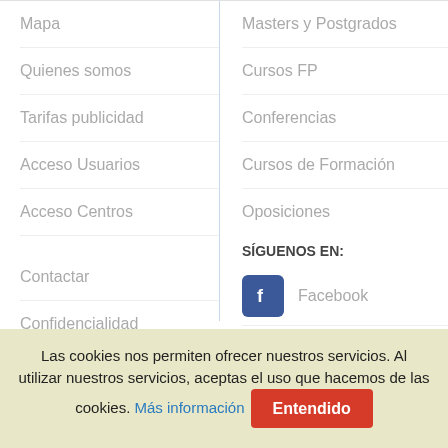Mapa
Masters y Postgrados
Quienes somos
Cursos FP
Tarifas publicidad
Conferencias
Acceso Usuarios
Cursos de Formación
Acceso Centros
Oposiciones
Contactar
Confidencialidad
Aviso legal
SÍGUENOS EN:
Facebook
Twitter
Las cookies nos permiten ofrecer nuestros servicios. Al utilizar nuestros servicios, aceptas el uso que hacemos de las cookies. Más información Entendido